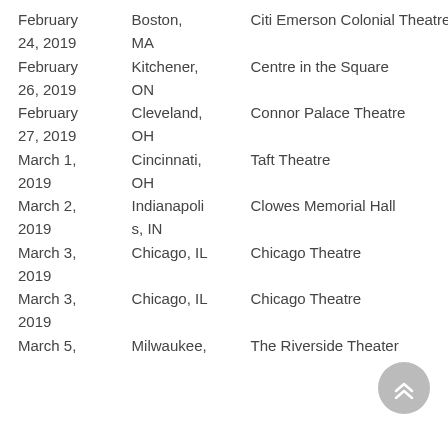| Date | City | Venue |
| --- | --- | --- |
| February 24, 2019 | Boston, MA | Citi Emerson Colonial Theatre |
| February 26, 2019 | Kitchener, ON | Centre in the Square |
| February 27, 2019 | Cleveland, OH | Connor Palace Theatre |
| March 1, 2019 | Cincinnati, OH | Taft Theatre |
| March 2, 2019 | Indianapolis, IN | Clowes Memorial Hall |
| March 3, 2019 | Chicago, IL | Chicago Theatre |
| March 3, 2019 | Chicago, IL | Chicago Theatre |
| March 5, 2019 | Milwaukee, | The Riverside Theater |